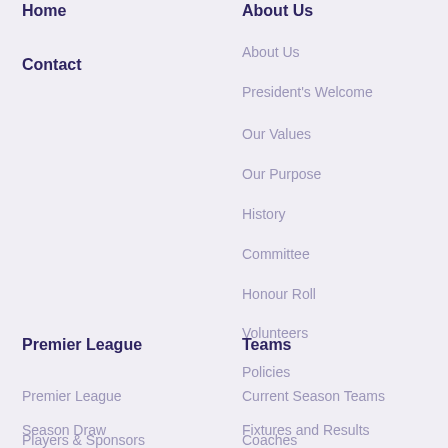Home
About Us
About Us
President's Welcome
Our Values
Our Purpose
History
Committee
Honour Roll
Volunteers
Policies
Contact
Premier League
Teams
Premier League
Season Draw
Players & Sponsors
Current Season Teams
Fixtures and Results
Coaches